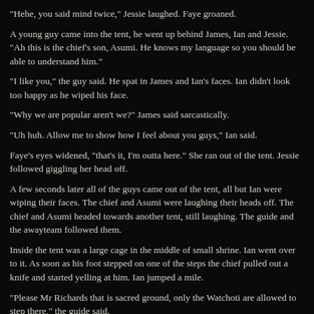"Hehe, you said mind twice," Jessie laughed. Faye groaned.
A young guy came into the tent, he went up behind James, Ian and Jessie. "Ah this is the chief's son, Asumi. He knows my language so you should be able to understand him."
"I like you," the guy said. He spat in James and Ian's faces. Ian didn't look too happy as he wiped his face.
"Why we are popular aren't we?" James said sarcastically.
"Uh huh. Allow me to show how I feel about you guys," Ian said.
Faye's eyes widened, "that's it, I'm outta here." She ran out of the tent. Jessie followed giggling her head off.
A few seconds later all of the guys came out of the tent, all but Ian were wiping their faces. The chief and Asumi were laughing their heads off. The chief and Asumi headed towards another tent, still laughing. The guide and the awayteam followed them.
Inside the tent was a large cage in the middle of small shrine. Ian went over to it. As soon as his foot stepped on one of the steps the chief pulled out a knife and started yelling at him. Ian jumped a mile.
"Please Mr Richards that is sacred ground, only the Watchoti are allowed to step there," the guide said.